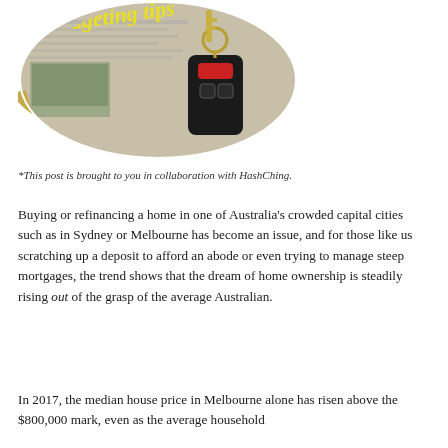[Figure (photo): Circular cropped photo showing car keys, a pencil, and newspaper/real estate listings, with yellow italic text 'budgeting tips' overlaid on top]
*This post is brought to you in collaboration with HashChing.
Buying or refinancing a home in one of Australia's crowded capital cities such as in Sydney or Melbourne has become an issue, and for those like us scratching up a deposit to afford an abode or even trying to manage steep mortgages, the trend shows that the dream of home ownership is steadily rising out of the grasp of the average Australian.
In 2017, the median house price in Melbourne alone has risen above the $800,000 mark, even as the average household...